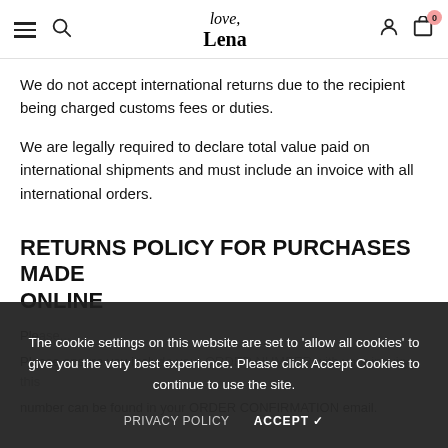love, Lena — navigation bar with hamburger, search, logo, user icon, cart (0)
We do not accept international returns due to the recipient being charged customs fees or duties.
We are legally required to declare total value paid on international shipments and must include an invoice with all international orders.
RETURNS POLICY FOR PURCHASES MADE ONLINE
The cookie settings on this website are set to 'allow all cookies' to give you the very best experience. Please click Accept Cookies to continue to use the site.
PRIVACY POLICY   ACCEPT ✓